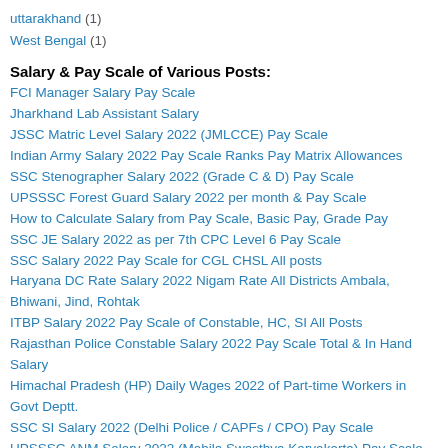uttarakhand (1)
West Bengal (1)
Salary & Pay Scale of Various Posts:
FCI Manager Salary Pay Scale
Jharkhand Lab Assistant Salary
JSSC Matric Level Salary 2022 (JMLCCE) Pay Scale
Indian Army Salary 2022 Pay Scale Ranks Pay Matrix Allowances
SSC Stenographer Salary 2022 (Grade C & D) Pay Scale
UPSSSC Forest Guard Salary 2022 per month & Pay Scale
How to Calculate Salary from Pay Scale, Basic Pay, Grade Pay
SSC JE Salary 2022 as per 7th CPC Level 6 Pay Scale
SSC Salary 2022 Pay Scale for CGL CHSL All posts
Haryana DC Rate Salary 2022 Nigam Rate All Districts Ambala, Bhiwani, Jind, Rohtak
ITBP Salary 2022 Pay Scale of Constable, HC, SI All Posts
Rajasthan Police Constable Salary 2022 Pay Scale Total & In Hand Salary
Himachal Pradesh (HP) Daily Wages 2022 of Part-time Workers in Govt Deptt.
SSC SI Salary 2022 (Delhi Police / CAPFs / CPO) Pay Scale
UPSSSC ANM Salary 2022 (Mahila Swasthya Karyakarta) Pay Scale
UPPCL Executive Assistant Salary 2022 Pay Scale